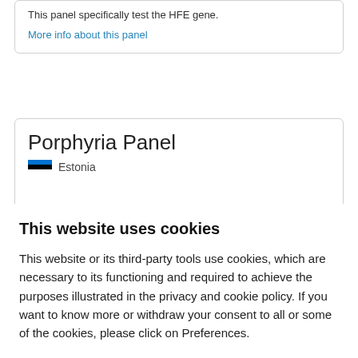This panel specifically test the HFE gene.
More info about this panel
Porphyria Panel
Estonia
This website uses cookies
This website or its third-party tools use cookies, which are necessary to its functioning and required to achieve the purposes illustrated in the privacy and cookie policy. If you want to know more or withdraw your consent to all or some of the cookies, please click on Preferences.
Accept all
Preferences